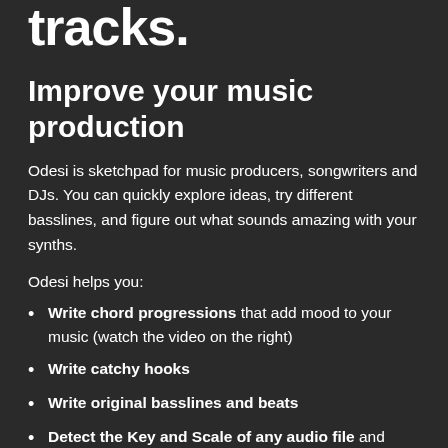tracks.
Improve your music production
Odesi is sketchpad for music producers, songwriters and DJs. You can quickly explore ideas, try different basslines, and figure out what sounds amazing with your synths.
Odesi helps you:
Write chord progressions that add mood to your music (watch the video on the right)
Write catchy hooks
Write original basslines and beats
Detect the Key and Scale of any audio file and write a new remix of it, using Odesi's chords, melody and